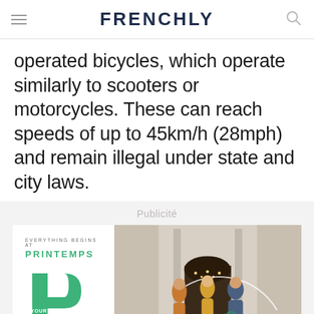FRENCHLY
operated bicycles, which operate similarly to scooters or motorcycles. These can reach speeds of up to 45km/h (28mph) and remain illegal under state and city laws.
Publicité
[Figure (photo): Printemps advertisement banner showing 'EVERYTHING BEGINS AT PRINTEMPS' text with green logo on left, and photo of three women with green shopping bags in front of a building on right. Text reads 'YOUR EXCLUSIVE BENEFITS'.]